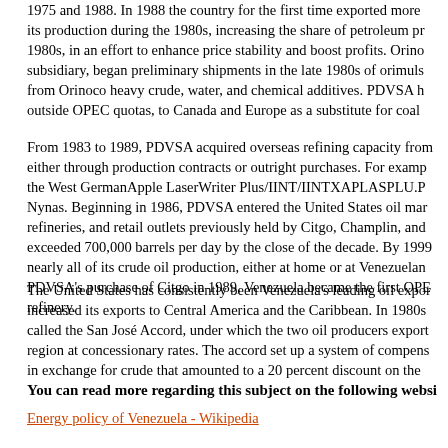1975 and 1980. In 1988 the country for the first time exported more than its production during the 1980s, increasing the share of petroleum p... 1980s, in an effort to enhance price stability and boost profits. Orin... subsidiary, began preliminary shipments in the late 1980s of orimuls... from Orinoco heavy crude, water, and chemical additives. PDVSA h... outside OPEC quotas, to Canada and Europe as a substitute for coal...
From 1983 to 1989, PDVSA acquired overseas refining capacity fro... either through production contracts or outright purchases. For exam... the West GermanApple LaserWriter Plus/IINT/IINTXAPLASPLU.P... Nynas. Beginning in 1986, PDVSA entered the United States oil ma... refineries, and retail outlets previously held by Citgo, Champlin, an... exceeded 700,000 barrels per day by the close of the decade. By 199... nearly all of its crude oil production, either at home or at Venezuelan... PDVSA's purchase of Citgo in 1989, Venezuela became the first OP... refinery.
The United States has consistently been Venezuela's leading oil expo... increased its exports to Central America and the Caribbean. In 1980... called the San José Accord, under which the two oil producers expor... region at concessionary rates. The accord set up a system of compen... in exchange for crude that amounted to a 20 percent discount on the...
You can read more regarding this subject on the following websi...
Energy policy of Venezuela - Wikipedia